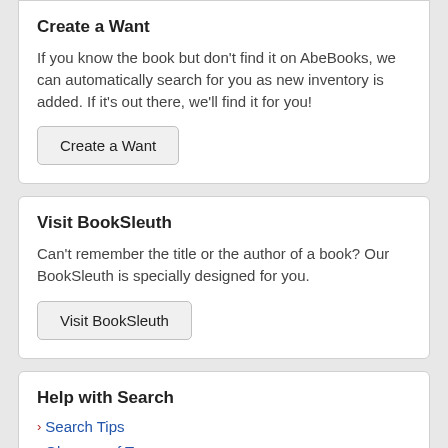Create a Want
If you know the book but don't find it on AbeBooks, we can automatically search for you as new inventory is added. If it's out there, we'll find it for you!
Create a Want
Visit BookSleuth
Can't remember the title or the author of a book? Our BookSleuth is specially designed for you.
Visit BookSleuth
Help with Search
› Search Tips
› Glossary of Terms
› Set your own Search Preferences